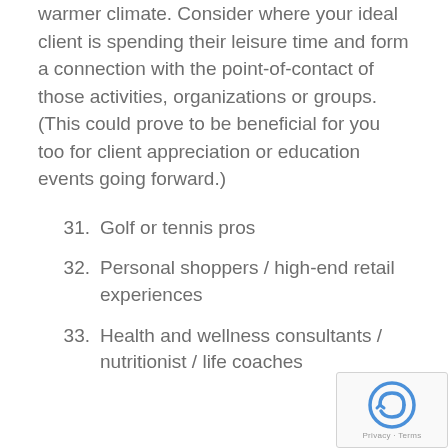warmer climate. Consider where your ideal client is spending their leisure time and form a connection with the point-of-contact of those activities, organizations or groups. (This could prove to be beneficial for you too for client appreciation or education events going forward.)
31. Golf or tennis pros
32. Personal shoppers / high-end retail experiences
33. Health and wellness consultants / nutritionist / life coaches